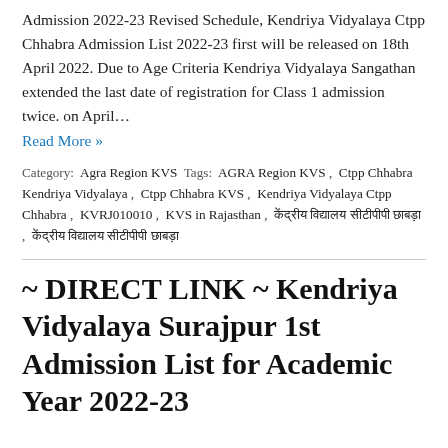Admission 2022-23 Revised Schedule, Kendriya Vidyalaya Ctpp Chhabra Admission List 2022-23 first will be released on 18th April 2022. Due to Age Criteria Kendriya Vidyalaya Sangathan extended the last date of registration for Class 1 admission twice. on April…
Read More »
Category: Agra Region KVS Tags: AGRA Region KVS , Ctpp Chhabra Kendriya Vidyalaya , Ctpp Chhabra KVS , Kendriya Vidyalaya Ctpp Chhabra , KVRJ010010 , KVS in Rajasthan , केंद्रीय विद्यालय सीटीपीपी छाबड़ा , केंद्रीय विद्यालय सीटीपीपी छाबड़ा
~ DIRECT LINK ~ Kendriya Vidyalaya Surajpur 1st Admission List for Academic Year 2022-23